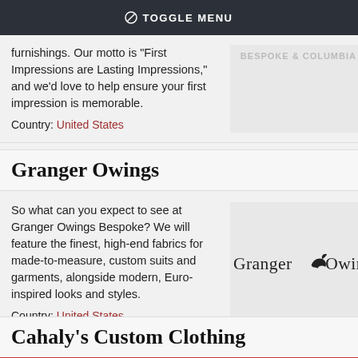TOGGLE MENU
furnishings. Our motto is “First Impressions are Lasting Impressions,” and we’d love to help ensure your first impression is memorable.
Country: United States
Granger Owings
So what can you expect to see at Granger Owings Bespoke? We will feature the finest, high-end fabrics for made-to-measure, custom suits and garments, alongside modern, Euro-inspired looks and styles.
Country: United States
[Figure (logo): Granger Owings logo with stylized bird silhouette between the two words]
Cahaly’s Custom Clothing